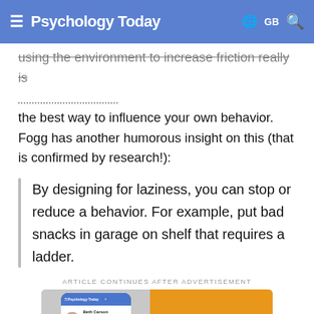Psychology Today  GB
using the environment to increase friction really is the best way to influence your own behavior. Fogg has another humorous insight on this (that is confirmed by research!):
By designing for laziness, you can stop or reduce a behavior. For example, put bad snacks in garage on shelf that requires a ladder.
ARTICLE CONTINUES AFTER ADVERTISEMENT
[Figure (screenshot): Advertisement showing a Psychology Today app screenshot on a phone with a therapist profile for Beth Carson, Psychologist, Verified by Psychology Today, with Call and Email buttons, alongside an orange panel with text 'Find a Therapist']